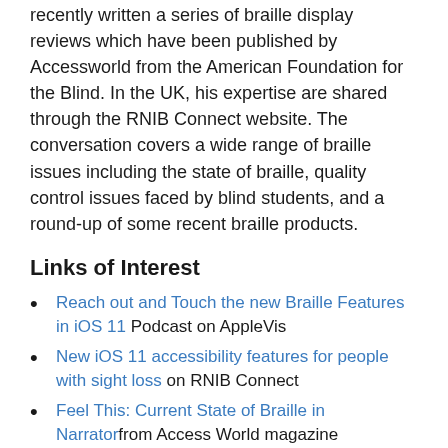braille in the AppleVis community, and has recently written a series of braille display reviews which have been published by Accessworld from the American Foundation for the Blind. In the UK, his expertise are shared through the RNIB Connect website. The conversation covers a wide range of braille issues including the state of braille, quality control issues faced by blind students, and a round-up of some recent braille products.
Links of Interest
Reach out and Touch the new Braille Features in iOS 11 Podcast on AppleVis
New iOS 11 accessibility features for people with sight loss on RNIB Connect
Feel This: Current State of Braille in Narratorfrom Access World magazine